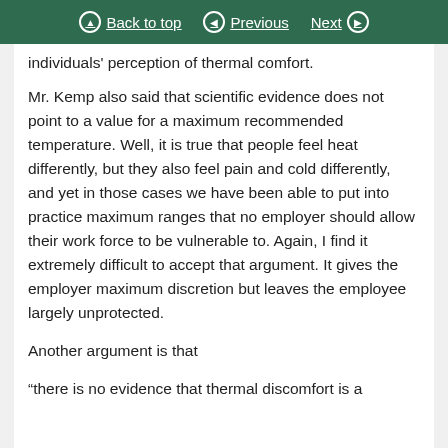Back to top | Previous | Next
individuals' perception of thermal comfort.
Mr. Kemp also said that scientific evidence does not point to a value for a maximum recommended temperature. Well, it is true that people feel heat differently, but they also feel pain and cold differently, and yet in those cases we have been able to put into practice maximum ranges that no employer should allow their work force to be vulnerable to. Again, I find it extremely difficult to accept that argument. It gives the employer maximum discretion but leaves the employee largely unprotected.
Another argument is that
“there is no evidence that thermal discomfort is a